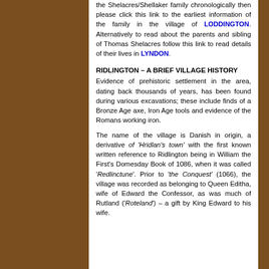the Shelacres/Shellaker family chronologically then please click this link to the earliest information of the family in the village of LODDINGTON. Alternatively to read about the parents and sibling of Thomas Shelacres follow this link to read details of their lives in LYNDON.
RIDLINGTON – A BRIEF VILLAGE HISTORY
Evidence of prehistoric settlement in the area, dating back thousands of years, has been found during various excavations; these include finds of a Bronze Age axe, Iron Age tools and evidence of the Romans working iron.
The name of the village is Danish in origin, a derivative of 'Hridlan's town' with the first known written reference to Ridlington being in William the First's Domesday Book of 1086, when it was called 'Redlinctune'. Prior to 'the Conquest' (1066), the village was recorded as belonging to Queen Editha, wife of Edward the Confessor, as was much of Rutland ('Roteland') – a gift by King Edward to his wife. Editha...